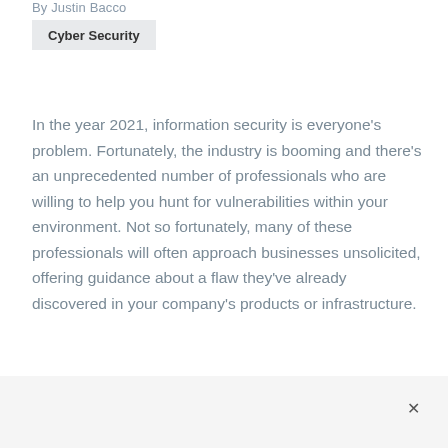By Justin Bacco
Cyber Security
In the year 2021, information security is everyone’s problem. Fortunately, the industry is booming and there’s an unprecedented number of professionals who are willing to help you hunt for vulnerabilities within your environment. Not so fortunately, many of these professionals will often approach businesses unsolicited, offering guidance about a flaw they’ve already discovered in your company’s products or infrastructure.